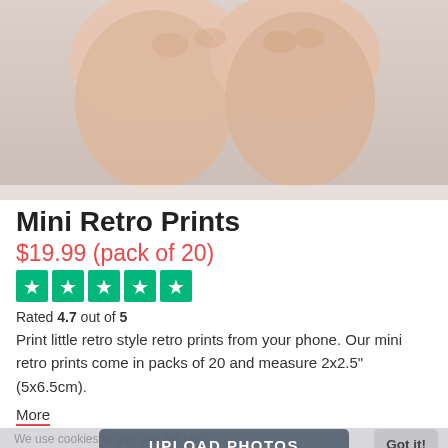[Figure (photo): Hands holding something against a light grey background, shown from above]
Mini Retro Prints
$19.99 (pack of 20)
[Figure (other): Five green Trustpilot star rating boxes]
Rated 4.7 out of 5
Print little retro style retro prints from your phone. Our mini retro prints come in packs of 20 and measure 2x2.5" (5x6.5cm).
More
We use cookies to give you the best possible website experience. By confirming you are accepting our cookies policy
UPLOAD PHOTOS
Got it!
RETURNS & REFUNDS